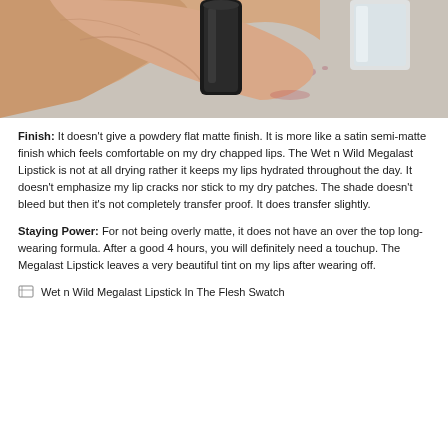[Figure (photo): A hand holding a small black-capped cosmetic product (lipstick) against a light grey/beige surface, with a clear glass container visible in the upper right.]
Finish: It doesn't give a powdery flat matte finish. It is more like a satin semi-matte finish which feels comfortable on my dry chapped lips. The Wet n Wild Megalast Lipstick is not at all drying rather it keeps my lips hydrated throughout the day. It doesn't emphasize my lip cracks nor stick to my dry patches. The shade doesn't bleed but then it's not completely transfer proof. It does transfer slightly.
Staying Power: For not being overly matte, it does not have an over the top long-wearing formula. After a good 4 hours, you will definitely need a touchup. The Megalast Lipstick leaves a very beautiful tint on my lips after wearing off.
Wet n Wild Megalast Lipstick In The Flesh Swatch